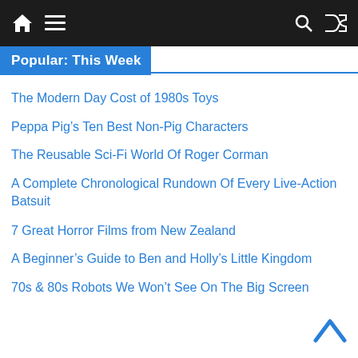Navigation bar with home, menu, search, and shuffle icons
Popular: This Week
The Modern Day Cost of 1980s Toys
Peppa Pig’s Ten Best Non-Pig Characters
The Reusable Sci-Fi World Of Roger Corman
A Complete Chronological Rundown Of Every Live-Action Batsuit
7 Great Horror Films from New Zealand
A Beginner’s Guide to Ben and Holly’s Little Kingdom
70s & 80s Robots We Won’t See On The Big Screen